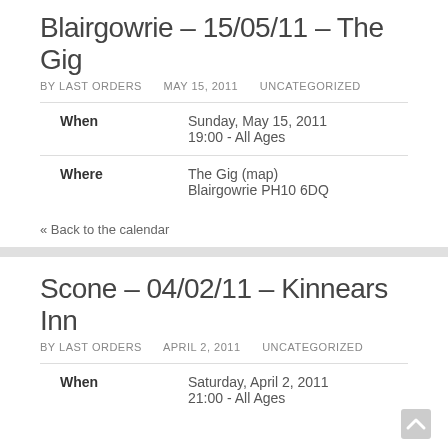Blairgowrie – 15/05/11 – The Gig
BY LAST ORDERS    MAY 15, 2011    UNCATEGORIZED
|  |  |
| --- | --- |
| When | Sunday, May 15, 2011
19:00 - All Ages |
| Where | The Gig (map)
Blairgowrie PH10 6DQ |
« Back to the calendar
Scone – 04/02/11 – Kinnears Inn
BY LAST ORDERS    APRIL 2, 2011    UNCATEGORIZED
|  |  |
| --- | --- |
| When | Saturday, April 2, 2011
21:00 - All Ages |